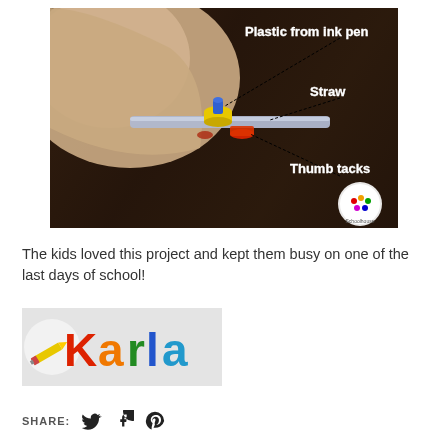[Figure (photo): Close-up photo of a homemade spinner/top made from a straw, plastic from an ink pen, and thumb tacks. Labels point to each component: 'Plastic from ink pen', 'Straw', 'Thumb tacks'. A watermark/logo appears in the bottom right corner.]
The kids loved this project and kept them busy on one of the last days of school!
[Figure (logo): Signature logo image showing the name 'Karla' in colorful letters with a pencil graphic, on a light gray background.]
SHARE: